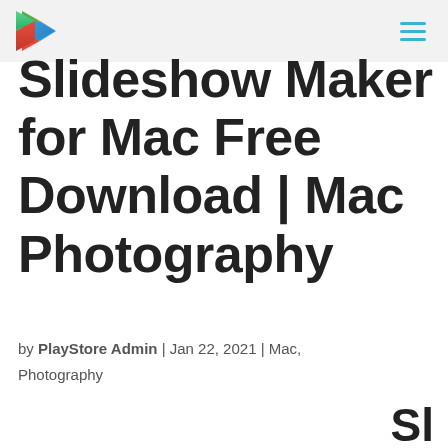PlayStore Admin — Slideshow Maker for Mac Free Download | Mac Photography
Slideshow Maker for Mac Free Download | Mac Photography
by PlayStore Admin | Jan 22, 2021 | Mac, Photography
Sl